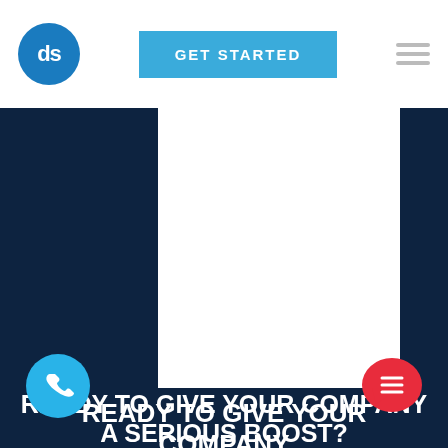ds | GET STARTED
READY TO GIVE YOUR COMPANY A SERIOUS BOOST?
Instantly download our in-house checklist to discover how we setup, optimize, and maintain top-performing Google Business Profiles every day!